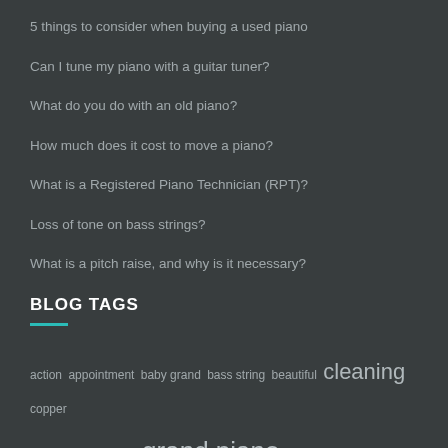5 things to consider when buying a used piano
Can I tune my piano with a guitar tuner?
What do you do with an old piano?
How much does it cost to move a piano?
What is a Registered Piano Technician (RPT)?
Loss of tone on bass strings?
What is a pitch raise, and why is it necessary?
BLOG TAGS
action appointment baby grand bass string beautiful cleaning copper dampp-chaser dust grand piano history humidity humidity control lifesaver manhattan manufacturer nyc piano piano care Pi…